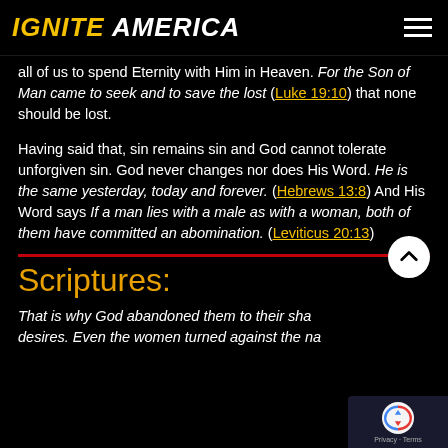IGNITE AMERICA
all of us to spend Eternity with Him in Heaven. For the Son of Man came to seek and to save the lost (Luke 19:10) that none should be lost.
Having said that, sin remains sin and God cannot tolerate unforgiven sin. God never changes nor does His Word. He is the same yesterday, today and forever. (Hebrews 13:8) And His Word says If a man lies with a male as with a woman, both of them have committed an abomination. (Leviticus 20:13)
Scriptures:
That is why God abandoned them to their shameful desires. Even the women turned against the natural way...